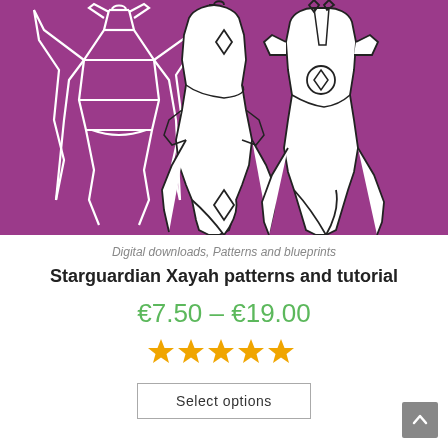[Figure (illustration): Three fantasy costume/armor sketches (white line drawings) on a purple background, showing front and back views of Starguardian Xayah outfit patterns with ornate details, collar, bodice, and elongated talon-like extensions.]
Digital downloads, Patterns and blueprints
Starguardian Xayah patterns and tutorial
€7.50 – €19.00
[Figure (other): Five filled star rating icons in orange/gold color indicating a 5-star rating.]
Select options